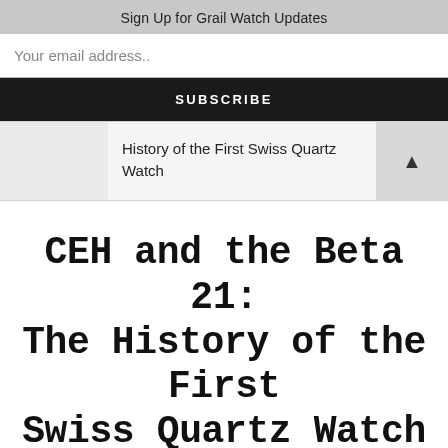Sign Up for Grail Watch Updates
Your email address..
SUBSCRIBE
History of the First Swiss Quartz Watch
CEH and the Beta 21: The History of the First Swiss Quartz Watch
JUNE 15, 2020 BY STEPHEN — LEAVE A COMMENT